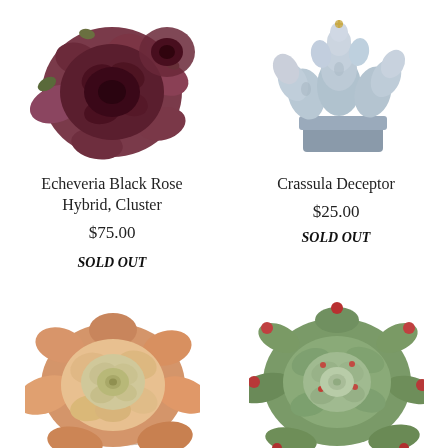[Figure (photo): Echeveria Black Rose Hybrid Cluster succulent with deep purple-red rosette leaves clustered together]
[Figure (photo): Crassula Deceptor succulent arrangement with pale blue-gray stacked leaves in a gray pot]
Echeveria Black Rose Hybrid, Cluster
$75.00
SOLD OUT
Crassula Deceptor
$25.00
SOLD OUT
[Figure (photo): Peach and green echeveria succulent rosette in a pot, bottom left]
[Figure (photo): Green echeveria with red-tipped pointed leaves, bottom right]